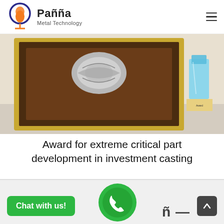Pañña Metal Technology
[Figure (photo): Photo of awards/trophies on a table — a framed plaque with silver emblem and a blue crystal trophy]
Award for extreme critical part development in investment casting
[Figure (logo): WhatsApp chat widget with green button 'Chat with us!' and WhatsApp phone icon, plus partial Pañña logo text and scroll-to-top button]